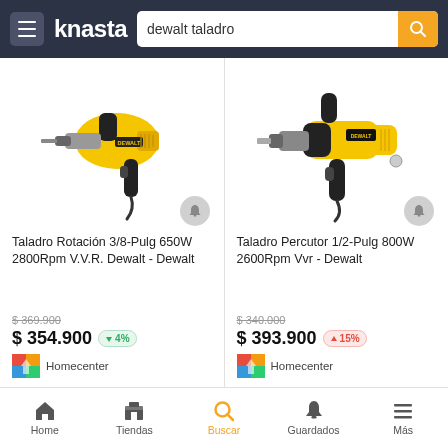knasta — dewalt taladro
[Figure (screenshot): Yellow DeWalt rotary drill, model with 3/8-inch chuck]
Taladro Rotación 3/8-Pulg 650W 2800Rpm V.V.R. Dewalt - Dewalt
$ 369.900 (original price, crossed out)
$ 354.900 ↓4%
Homecenter
[Figure (screenshot): Yellow DeWalt hammer drill, model with 1/2-inch chuck]
Taladro Percutor 1/2-Pulg 800W 2600Rpm Vvr - Dewalt
$ 340.000 (original price, crossed out)
$ 393.900 ↑15%
Homecenter
Home  Tiendas  Buscar  Guardados  Más